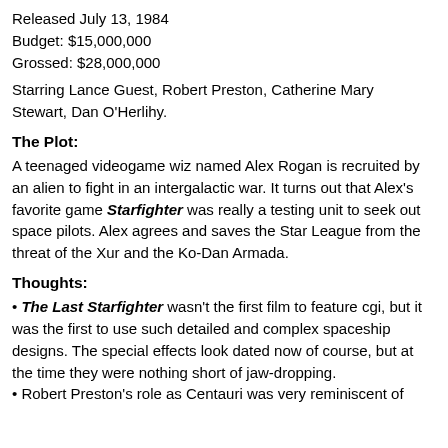Released July 13, 1984
Budget: $15,000,000
Grossed: $28,000,000
Starring Lance Guest, Robert Preston, Catherine Mary Stewart, Dan O'Herlihy.
The Plot:
A teenaged videogame wiz named Alex Rogan is recruited by an alien to fight in an intergalactic war. It turns out that Alex's favorite game Starfighter was really a testing unit to seek out space pilots. Alex agrees and saves the Star League from the threat of the Xur and the Ko-Dan Armada.
Thoughts:
• The Last Starfighter wasn't the first film to feature cgi, but it was the first to use such detailed and complex spaceship designs. The special effects look dated now of course, but at the time they were nothing short of jaw-dropping.
• Robert Preston's role as Centauri was very reminiscent of